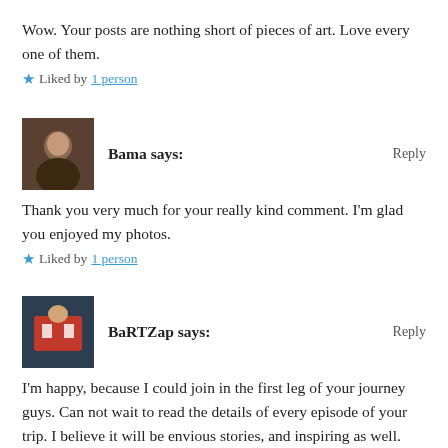Wow. Your posts are nothing short of pieces of art. Love every one of them.
★ Liked by 1 person
Bama says:
Reply
Thank you very much for your really kind comment. I'm glad you enjoyed my photos.
★ Liked by 1 person
BaRTZap says:
Reply
I'm happy, because I could join in the first leg of your journey guys. Can not wait to read the details of every episode of your trip. I believe it will be envious stories, and inspiring as well. Have a pleasant and safe trip in India and Nepal, for both of